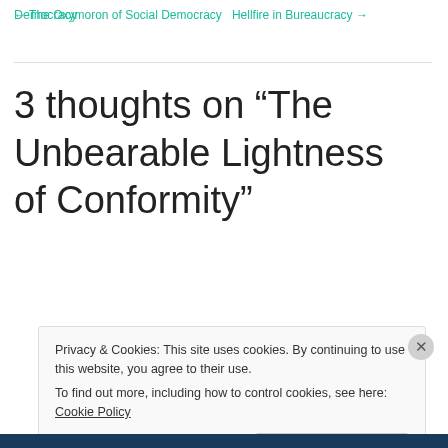← The Oxymoron of Social Democracy   Hellfire in Bureaucracy →
3 thoughts on “The Unbearable Lightness of Conformity”
Privacy & Cookies: This site uses cookies. By continuing to use this website, you agree to their use.
To find out more, including how to control cookies, see here: Cookie Policy
Close and accept